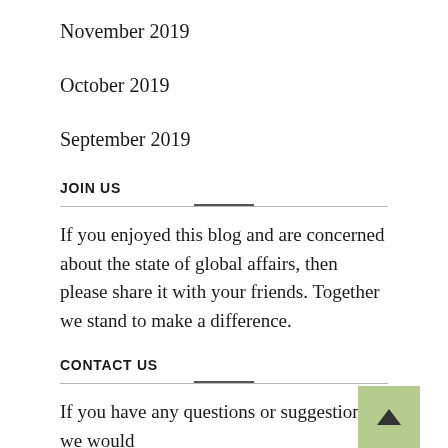November 2019
October 2019
September 2019
JOIN US
If you enjoyed this blog and are concerned about the state of global affairs, then please share it with your friends. Together we stand to make a difference.
CONTACT US
If you have any questions or suggestions, we would